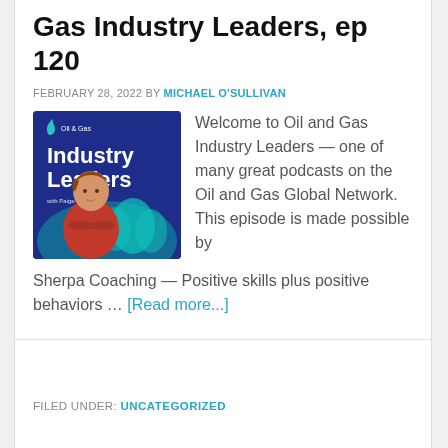Gas Industry Leaders, ep 120
FEBRUARY 28, 2022 BY MICHAEL O'SULLIVAN
[Figure (illustration): Oil & Gas Industry Leaders podcast cover art featuring a woman in a red blazer with arms crossed in front of a blue background with silhouettes and the text 'Oil & Gas Industry Leaders with Paige Wilson']
Welcome to Oil and Gas Industry Leaders — one of many great podcasts on the Oil and Gas Global Network. This episode is made possible by Sherpa Coaching — Positive skills plus positive behaviors … [Read more...]
FILED UNDER: UNCATEGORIZED